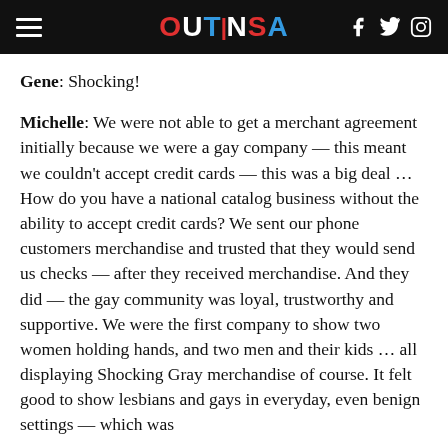OUTINSA
Gene: Shocking!
Michelle: We were not able to get a merchant agreement initially because we were a gay company — this meant we couldn't accept credit cards — this was a big deal … How do you have a national catalog business without the ability to accept credit cards? We sent our phone customers merchandise and trusted that they would send us checks — after they received merchandise. And they did — the gay community was loyal, trustworthy and supportive. We were the first company to show two women holding hands, and two men and their kids … all displaying Shocking Gray merchandise of course. It felt good to show lesbians and gays in everyday, even benign settings — which was